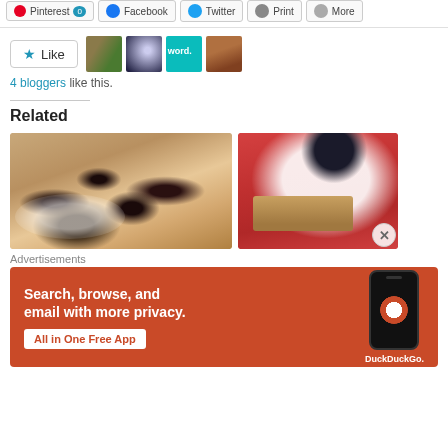Pinterest | Facebook | Twitter | Print | More — social sharing buttons
Like
4 bloggers like this.
Related
[Figure (photo): Photo of blueberry scone/bread slices in a white bowl on a wooden surface]
[Figure (photo): Photo of a pancake or cake with whipped cream and blueberry on top against a red background]
Advertisements
[Figure (other): DuckDuckGo advertisement banner with orange background. Text: Search, browse, and email with more privacy. All in One Free App. Shows phone mockup with DuckDuckGo logo.]